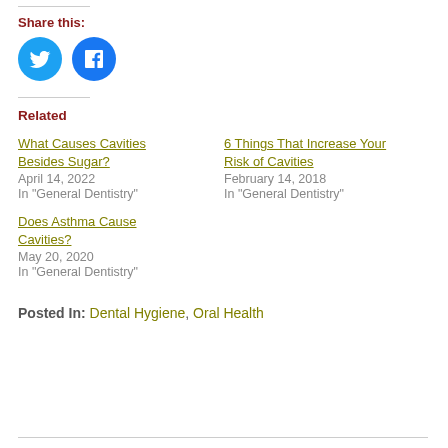Share this:
[Figure (illustration): Twitter and Facebook circular share buttons — blue circles with white bird and 'f' icons respectively]
Related
What Causes Cavities Besides Sugar?
April 14, 2022
In "General Dentistry"
6 Things That Increase Your Risk of Cavities
February 14, 2018
In "General Dentistry"
Does Asthma Cause Cavities?
May 20, 2020
In "General Dentistry"
Posted In: Dental Hygiene, Oral Health